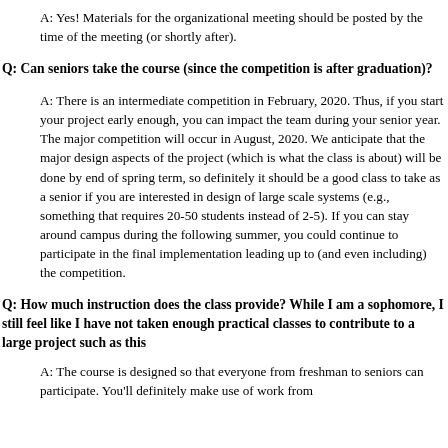A: Yes! Materials for the organizational meeting should be posted by the time of the meeting (or shortly after).
Q: Can seniors take the course (since the competition is after graduation)?
A: There is an intermediate competition in February, 2020. Thus, if you start your project early enough, you can impact the team during your senior year. The major competition will occur in August, 2020. We anticipate that the major design aspects of the project (which is what the class is about) will be done by end of spring term, so definitely it should be a good class to take as a senior if you are interested in design of large scale systems (e.g., something that requires 20-50 students instead of 2-5). If you can stay around campus during the following summer, you could continue to participate in the final implementation leading up to (and even including) the competition.
Q: How much instruction does the class provide? While I am a sophomore, I still feel like I have not taken enough practical classes to contribute to a large project such as this
A: The course is designed so that everyone from freshman to seniors can participate. You'll definitely make use of work from